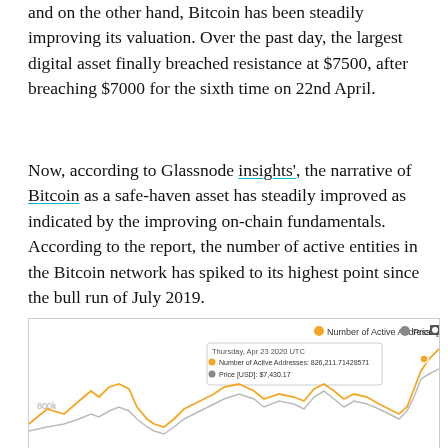and on the other hand, Bitcoin has been steadily improving its valuation. Over the past day, the largest digital asset finally breached resistance at $7500, after breaching $7000 for the sixth time on 22nd April.
Now, according to Glassnode insights', the narrative of Bitcoin as a safe-haven asset has steadily improved as indicated by the improving on-chain fundamentals. According to the report, the number of active entities in the Bitcoin network has spiked to its highest point since the bull run of July 2019.
[Figure (line-chart): Line chart showing Number of Active Addresses (orange) and Price [USD] (grey) over time. Tooltip shows Thursday, Apr 23 2020 UTC: Number of Active Addresses: 826,211.71428571, Price [USD]: $7,430.17. Y-axis label shows 800k.]